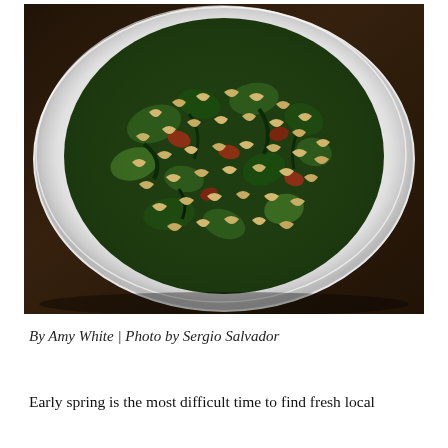[Figure (photo): A white plate containing a dish of small pasta pieces (orecchiette or similar) mixed with sautéed dark green vegetables (broccoli rabe or rapini) and bits of meat, photographed from above at a slight angle on a dark wooden surface.]
By Amy White | Photo by Sergio Salvador
Early spring is the most difficult time to find fresh local